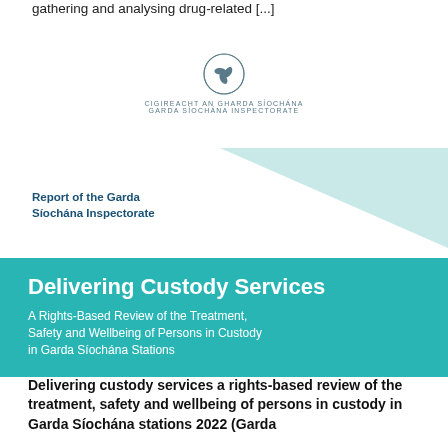gathering and analysing drug-related [...]
[Figure (logo): Garda Síochána Inspectorate crest/logo with triskelion symbol and text: CIGIREACHT AN GHARDA SÍOCHÁNA / GARDA SÍOCHÁNA INSPECTORATE]
[Figure (illustration): Decorative light teal triangle geometric shape pointing right, partially behind the report label]
Report of the Garda Síochána Inspectorate
[Figure (infographic): Teal banner containing the title 'Delivering Custody Services' and subtitle 'A Rights-Based Review of the Treatment, Safety and Wellbeing of Persons in Custody in Garda Síochána Stations']
Delivering Custody Services
A Rights-Based Review of the Treatment, Safety and Wellbeing of Persons in Custody in Garda Síochána Stations
Delivering custody services a rights-based review of the treatment, safety and wellbeing of persons in custody in Garda Síochána stations 2022 (Garda